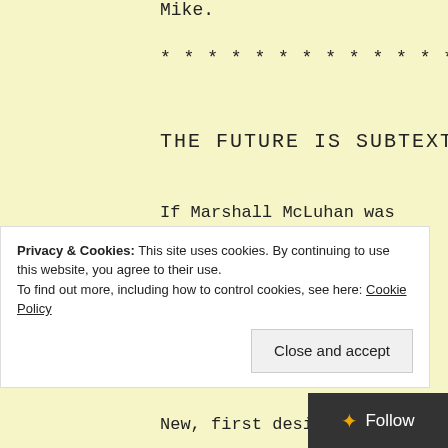Mike.
***********************************
THE FUTURE IS SUBTEXT
If Marshall McLuhan was right to say that ‘the medium is the message’, what does that make subtext? A newsletter sent using Majordomo, a mailing list manager created in
New, first designed arc
Privacy & Cookies: This site uses cookies. By continuing to use this website, you agree to their use.
To find out more, including how to control cookies, see here: Cookie Policy
Close and accept
Follow